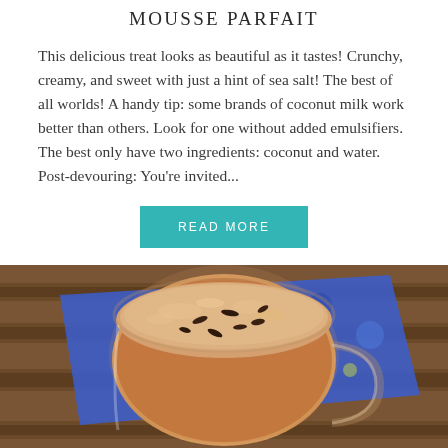Mousse Parfait
This delicious treat looks as beautiful as it tastes! Crunchy, creamy, and sweet with just a hint of sea salt! The best of all worlds! A handy tip: some brands of coconut milk work better than others. Look for one without added emulsifiers. The best only have two ingredients: coconut and water. Post-devouring: You're invited...
READ MORE
[Figure (photo): Overhead view of a glass mug filled with a frothy chocolate mousse drink topped with cacao nibs, placed on a blue patterned napkin on a wooden table.]